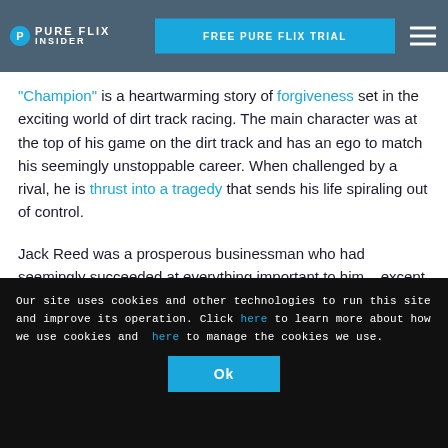Pure Flix Insider — FREE PURE FLIX TRIAL
"Champion" is a heartwarming story of forgiveness set in the exciting world of dirt track racing. The main character was at the top of his game on the dirt track and has an ego to match his seemingly unstoppable career. When challenged by a rival, he is thrust into a tragedy that sends his life spiraling out of control.
Jack Reed was a prosperous businessman who had seemingly succeeded at everything important to him – except his family. When Sean and Jack's lives are suddenly thrust together, they are faced with one final opportunity for forgiveness and reconciliation.
Our site uses cookies and other technologies to run this site and improve its operation. Click here to learn more about how we use cookies and here to manage the cookies we use.